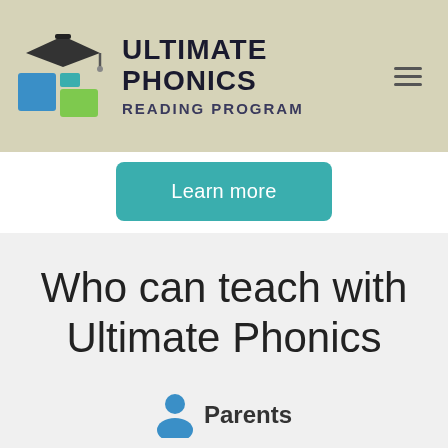[Figure (logo): Ultimate Phonics Reading Program logo with graduation cap and colored blocks icon, brand name in bold dark text]
Learn more
Who can teach with Ultimate Phonics
Parents
If you want your young children or students to become excellent lifelong readers, there is no